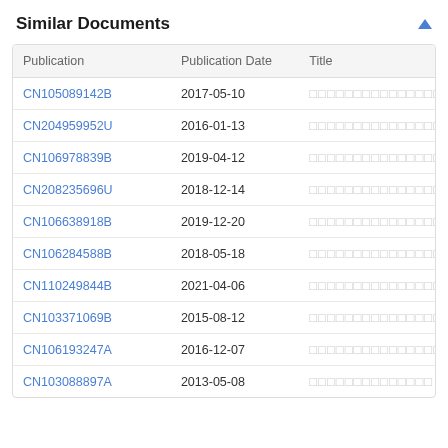Similar Documents
| Publication | Publication Date | Title |
| --- | --- | --- |
| CN105089142B | 2017-05-10 | □□□□□□□□□□□□□□□□□□□□□□□□ |
| CN204959952U | 2016-01-13 | □□□□□□□□□□□□□□□□□□□□□□□□ |
| CN106978839B | 2019-04-12 | □□□□□□□□□□□□□□□□□ |
| CN208235696U | 2018-12-14 | □□□□□□□□□□□□□□□□□□□□ |
| CN106638918B | 2019-12-20 | □□□□□□□□□□□□□□□□ |
| CN106284588B | 2018-05-18 | □□□□□□□□□□□□□□□□□□ |
| CN110249844B | 2021-04-06 | □□□□□□□□□□□□□□□ |
| CN103371069B | 2015-08-12 | □□□□□□□□□□□□□□□□□□□□□ |
| CN106193247A | 2016-12-07 | □□□□□□□□□□□□□□□□□□□□ |
| CN103088897A | 2013-05-08 | □□□□□□□□□□□□□□ |